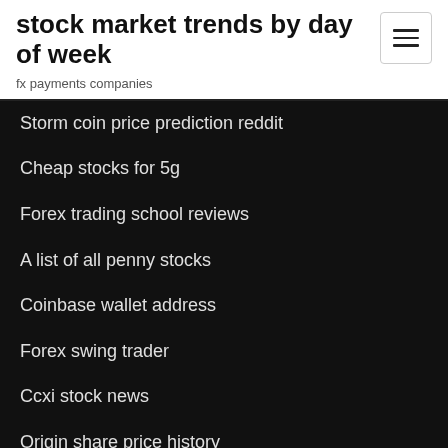stock market trends by day of week
fx payments companies
Storm coin price prediction reddit
Cheap stocks for 5g
Forex trading school reviews
A list of all penny stocks
Coinbase wallet address
Forex swing trader
Ccxi stock news
Origin share price history
As traded cars
Top 10 oil stocks to buy now